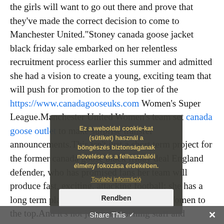the girls will want to go out there and prove that they've made the correct decision to come to Manchester United.“Stoney canada goose jacket black friday sale embarked on her relentless recruitment process earlier this summer and admitted she had a vision to create a young, exciting team that will push for promotion to the top tier of the https://www.canadagooseuks.com Women’s Super League.Manchester United Women’s team set canada goose outlet to make surprise transfer announcements.This isn’t just a short term project for the former canada goose black friday deal England defender, who has promised fans her team will produce fast, exciting, attacking football; she has a long term plan to get Manchester United Women to the top.And it’s not just her coaching staff and players who are central to that vision, and her squad have already been pleased at the support they have had from across the board at Old Trafford
[Figure (other): Cookie consent popup overlay with Hungarian text: 'Ez a weboldal cookie-kat (sütiket) használ a böngészés biztonságának növelése és a felhasználói élmény fokozása érdekében.' with 'További információ' link and 'Rendben' button]
Share This ✓  ×